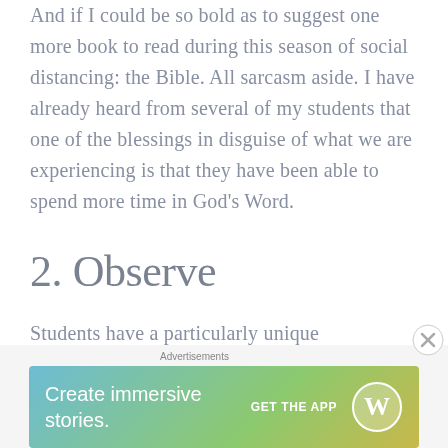And if I could be so bold as to suggest one more book to read during this season of social distancing: the Bible. All sarcasm aside. I have already heard from several of my students that one of the blessings in disguise of what we are experiencing is that they have been able to spend more time in God's Word.
2. Observe
Students have a particularly unique opportunity during the quarantine to observe their parents as they never have. Many parents are being forced to work from home. In many ways, the
[Figure (other): Advertisement banner: 'Create immersive stories.' with 'GET THE APP' call to action and WordPress logo, on a gradient teal-green-yellow background.]